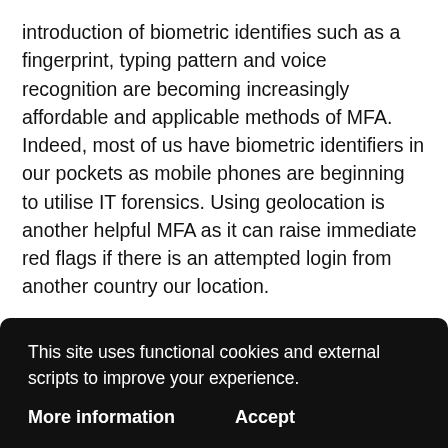introduction of biometric identifies such as a fingerprint, typing pattern and voice recognition are becoming increasingly affordable and applicable methods of MFA. Indeed, most of us have biometric identifiers in our pockets as mobile phones are beginning to utilise IT forensics. Using geolocation is another helpful MFA as it can raise immediate red flags if there is an attempted login from another country our location.
In conclusion, implementing IAM is simple. All corporations should take an active, holistic approach to protecting data. It is important to ponder policy, especially when it comes to
This site uses functional cookies and external scripts to improve your experience.
More information    Accept